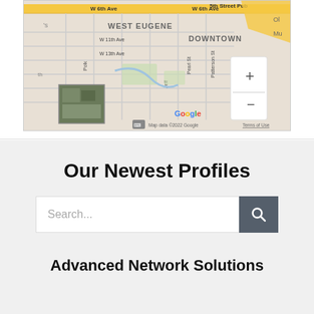[Figure (map): Google Maps screenshot showing West Eugene and Downtown Eugene area with street grid including W 6th Ave, W 11th Ave, W 13th Ave, Pearl St, Patterson St, Jefferson St, Polk St. Zoom controls (+/-) visible. Map data ©2022 Google with Terms of Use link. Small satellite image thumbnail in bottom left corner.]
Our Newest Profiles
Search...
Advanced Network Solutions